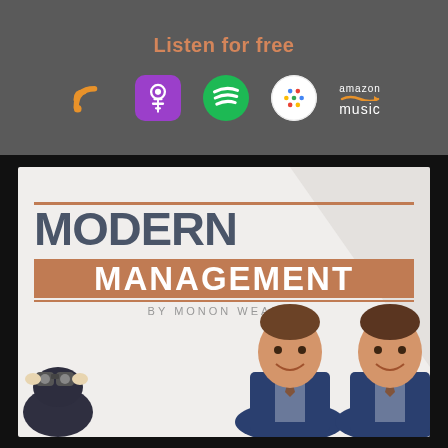Listen for free
[Figure (logo): RSS feed icon, Apple Podcasts icon, Spotify icon, Google Podcasts icon, Amazon Music logo]
[Figure (illustration): Modern Wealth Management podcast cover art by Monon Wealth, showing two men in suits and a binoculars illustration]